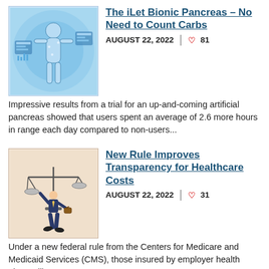[Figure (illustration): Medical illustration of a human body silhouette in blue with data/charts overlaid, representing bionic/digital health technology]
The iLet Bionic Pancreas – No Need to Count Carbs
AUGUST 22, 2022   ♡ 81
Impressive results from a trial for an up-and-coming artificial pancreas showed that users spent an average of 2.6 more hours in range each day compared to non-users...
[Figure (illustration): Illustration of a businessman in a suit holding a balance/scale, with a beige/tan background, representing law/healthcare policy]
New Rule Improves Transparency for Healthcare Costs
AUGUST 22, 2022   ♡ 31
Under a new federal rule from the Centers for Medicare and Medicaid Services (CMS), those insured by employer health plans will now